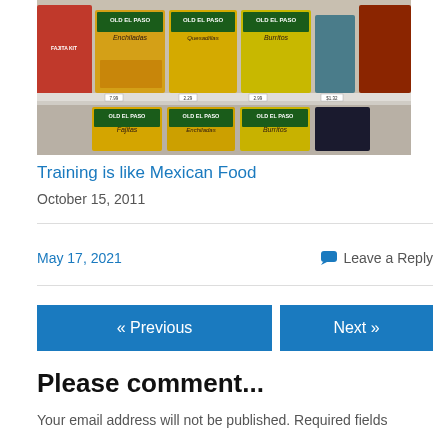[Figure (photo): Store shelf with Old El Paso brand Mexican food products including Enchiladas, Quesadillas, Burritos, and Fajitas kit boxes, with price tags visible.]
Training is like Mexican Food
October 15, 2011
May 17, 2021
Leave a Reply
« Previous
Next »
Please comment...
Your email address will not be published. Required fields